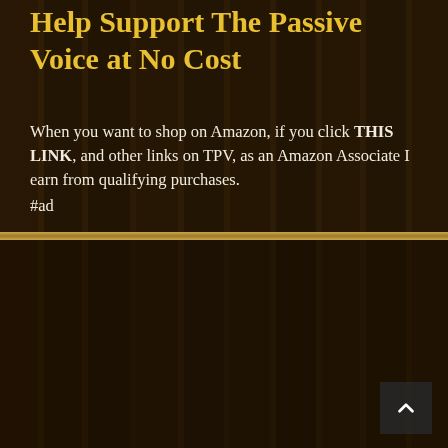Help Support The Passive Voice at No Cost
When you want to shop on Amazon, if you click THIS LINK, and other links on TPV, as an Amazon Associate I earn from qualifying purchases.
#ad
Kindle Bestsellers
Kindle Bestsellers - Paid
Kindle Bestsellers - Free
Kindle Bestsellers - Romance
Kindle Bestsellers - SciFi & Fantasy